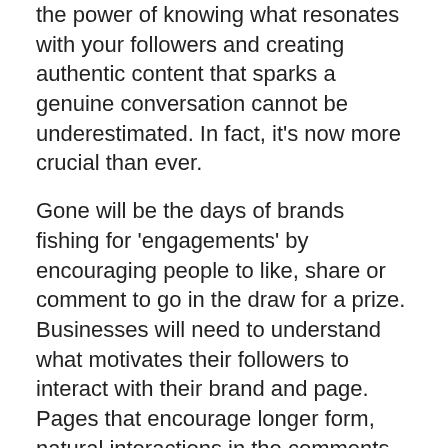the power of knowing what resonates with your followers and creating authentic content that sparks a genuine conversation cannot be underestimated. In fact, it's now more crucial than ever.
Gone will be the days of brands fishing for 'engagements' by encouraging people to like, share or comment to go in the draw for a prize. Businesses will need to understand what motivates their followers to interact with their brand and page. Pages that encourage longer form, natural interactions in the comments section will be rewarded by Facebook's new algorithm.
Build your brand through high quality content, not just reach.